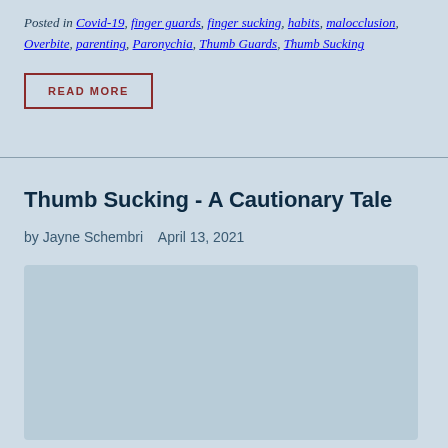Posted in Covid-19, finger guards, finger sucking, habits, malocclusion, Overbite, parenting, Paronychia, Thumb Guards, Thumb Sucking
READ MORE
Thumb Sucking - A Cautionary Tale
by Jayne Schembri   April 13, 2021
[Figure (photo): Article featured image placeholder for Thumb Sucking - A Cautionary Tale]